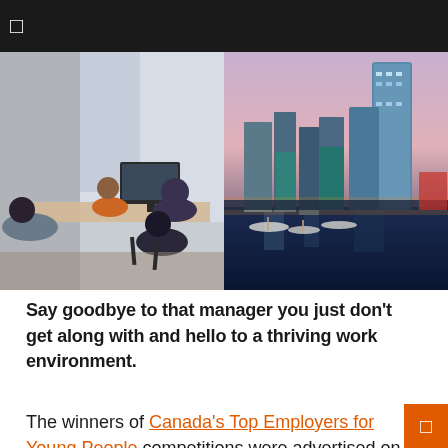□
[Figure (photo): Two side-by-side photos: left shows an office workspace with people working at desks with computers in a loft-style space with large windows; right shows a city skyline at dusk with tall glass skyscrapers and a marina with boats in the foreground.]
Say goodbye to that manager you just don't get along with and hello to a thriving work environment.
The winners of Canada's Top Employers for Young People competitions were advertised on the